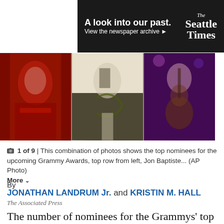[Figure (other): Seattle Times advertisement banner: 'A look into our past. View the newspaper archive' with The Seattle Times logo on dark background]
[Figure (photo): A composite photo strip showing three images: a person in red costume/outfit, a person holding a phone with a snake decoration, and a person playing guitar on stage with purple lighting]
1 of 9 | This combination of photos shows the top nominees for the upcoming Grammy Awards, top row from left, Jon Baptiste... (AP Photo) More
By
JONATHAN LANDRUM Jr. and KRISTIN M. HALL
The Associated Press
The number of nominees for the Grammys' top awards keeps growing, up to 10 this year, making the competition stronger, but predictions a lot